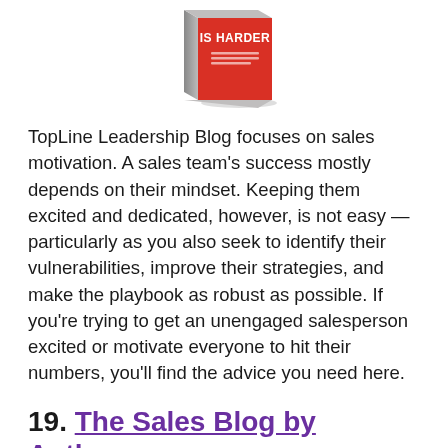[Figure (photo): Book cover showing the text 'IS HARDER' in white letters on a red background with small subtitle text below, displayed at an angle as a 3D book.]
TopLine Leadership Blog focuses on sales motivation. A sales team's success mostly depends on their mindset. Keeping them excited and dedicated, however, is not easy — particularly as you also seek to identify their vulnerabilities, improve their strategies, and make the playbook as robust as possible. If you're trying to get an unengaged salesperson excited or motivate everyone to hit their numbers, you'll find the advice you need here.
19. The Sales Blog by Anthony